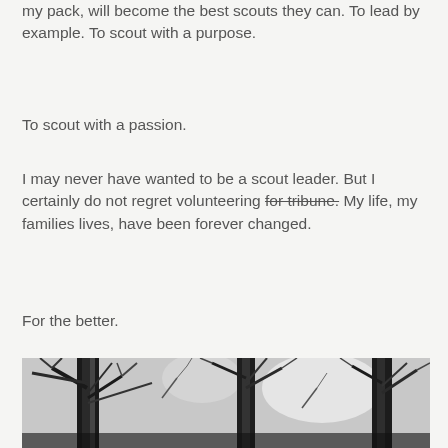I am striving to be the best Scouter I can, so that my pack, will become the best scouts they can. To lead by example. To scout with a purpose.
To scout with a passion.
I may never have wanted to be a scout leader. But I certainly do not regret volunteering for tribune. My life, my families lives, have been forever changed.
For the better.
Everybody Scouts is where we need to be.
[Figure (photo): Black and white photograph of trees with branches against a bright sky, taken from below looking upward.]